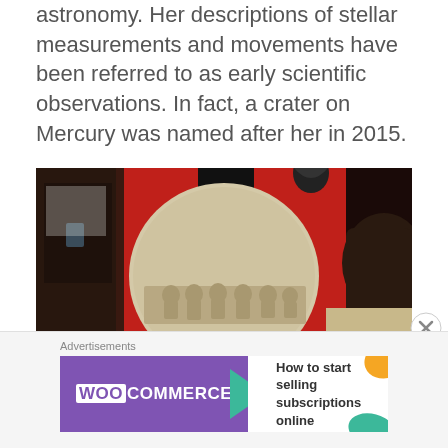astronomy. Her descriptions of stellar measurements and movements have been referred to as early scientific observations. In fact, a crater on Mercury was named after her in 2015.
[Figure (photo): A circular marble or stone relief artifact displayed on a red surface in a museum setting. The relief shows carved figures. Dark sculptural objects are partially visible in the background.]
Advertisements
[Figure (other): WooCommerce advertisement banner with purple left panel showing WooCommerce logo and teal arrow, white right panel with text 'How to start selling subscriptions online' and orange and teal decorative shapes.]